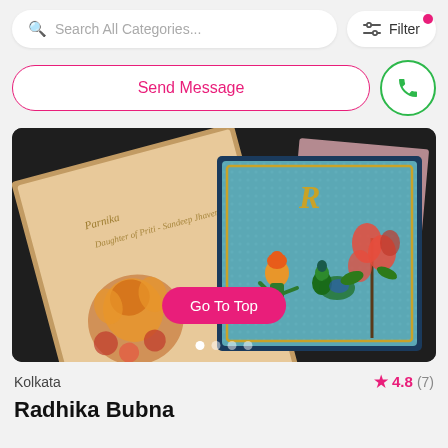Search All Categories...   Filter
Send Message
[Figure (photo): Wedding invitation cards laid out, showing decorative Indian-style cards with Ganesha illustration, script calligraphy with names Parnika and Rishi, and a teal card with letter R monogram and Rajasthani folk art figures with flowers]
Kolkata
4.8 (7)
Radhika Bubna